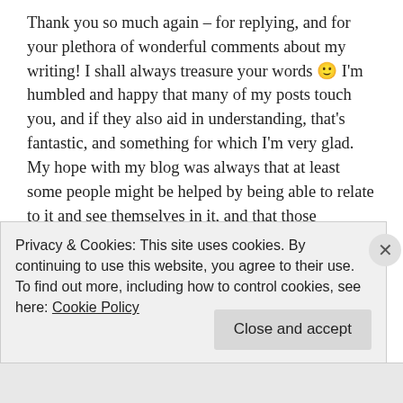Thank you so much again – for replying, and for your plethora of wonderful comments about my writing! I shall always treasure your words 🙂 I'm humbled and happy that many of my posts touch you, and if they also aid in understanding, that's fantastic, and something for which I'm very glad. My hope with my blog was always that at least some people might be helped by being able to relate to it and see themselves in it, and that those connections and the possibility of mutual support, would help us with the things we're living through. I'm so sorry that you have been struggling as well – I'm sending a virtual hug, and hope that it helps you to know that you're held in the thoughts of someone who understands. Although being away from home can be a relief sometimes, often it can make things even harder, particularly when it
Privacy & Cookies: This site uses cookies. By continuing to use this website, you agree to their use.
To find out more, including how to control cookies, see here: Cookie Policy
Close and accept